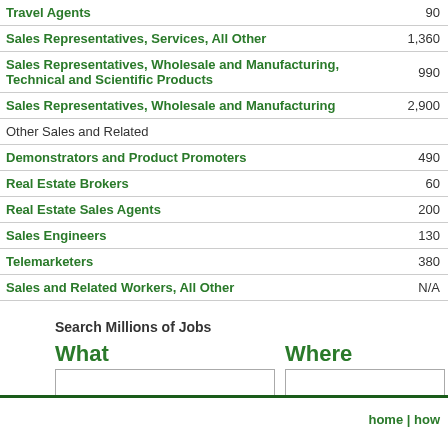| Job Title | Number |
| --- | --- |
| Travel Agents | 90 |
| Sales Representatives, Services, All Other | 1,360 |
| Sales Representatives, Wholesale and Manufacturing, Technical and Scientific Products | 990 |
| Sales Representatives, Wholesale and Manufacturing | 2,900 |
| Other Sales and Related |  |
| Demonstrators and Product Promoters | 490 |
| Real Estate Brokers | 60 |
| Real Estate Sales Agents | 200 |
| Sales Engineers | 130 |
| Telemarketers | 380 |
| Sales and Related Workers, All Other | N/A |
Search Millions of Jobs
What
Where
job title, keywords or company
city, state or zipcode
home | how